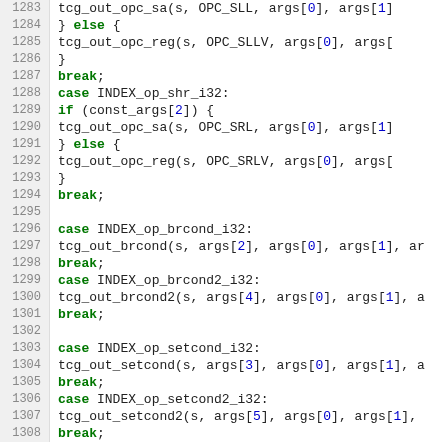Source code listing, lines 1283-1308, C code for TCG out operations
1283: tcg_out_opc_sa(s, OPC_SLL, args[0], args[1]
1284:     } else {
1285:         tcg_out_opc_reg(s, OPC_SLLV, args[0], args[
1286:     }
1287:     break;
1288: case INDEX_op_shr_i32:
1289:     if (const_args[2]) {
1290:         tcg_out_opc_sa(s, OPC_SRL, args[0], args[1]
1291:     } else {
1292:         tcg_out_opc_reg(s, OPC_SRLV, args[0], args[
1293:     }
1294:     break;
1295: (empty)
1296: case INDEX_op_brcond_i32:
1297:     tcg_out_brcond(s, args[2], args[0], args[1], ar
1298:     break;
1299: case INDEX_op_brcond2_i32:
1300:     tcg_out_brcond2(s, args[4], args[0], args[1], a
1301:     break;
1302: (empty)
1303: case INDEX_op_setcond_i32:
1304:     tcg_out_setcond(s, args[3], args[0], args[1], a
1305:     break;
1306: case INDEX_op_setcond2_i32:
1307:     tcg_out_setcond2(s, args[5], args[0], args[1],
1308:     break;